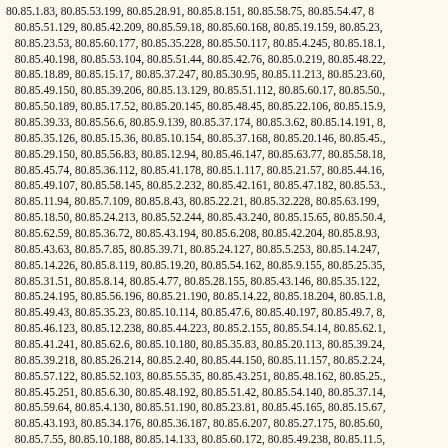80.85.1.83, 80.85.53.199, 80.85.28.91, 80.85.8.151, 80.85.58.75, 80.85.54.47, 80.85.51.129, 80.85.42.209, 80.85.59.18, 80.85.60.168, 80.85.19.159, 80.85.23, 80.85.23.53, 80.85.60.177, 80.85.35.228, 80.85.50.117, 80.85.4.245, 80.85.18.1, 80.85.40.198, 80.85.53.104, 80.85.51.44, 80.85.42.76, 80.85.0.219, 80.85.48.22, 80.85.18.89, 80.85.15.17, 80.85.37.247, 80.85.30.95, 80.85.11.213, 80.85.23.60, 80.85.49.150, 80.85.39.206, 80.85.13.129, 80.85.51.112, 80.85.60.17, 80.85.50., 80.85.50.189, 80.85.17.52, 80.85.20.145, 80.85.48.45, 80.85.22.106, 80.85.15.9, 80.85.39.33, 80.85.56.6, 80.85.9.139, 80.85.37.174, 80.85.3.62, 80.85.14.191, 8, 80.85.35.126, 80.85.15.36, 80.85.10.154, 80.85.37.168, 80.85.20.146, 80.85.45., 80.85.29.150, 80.85.56.83, 80.85.12.94, 80.85.46.147, 80.85.63.77, 80.85.58.18, 80.85.45.74, 80.85.36.112, 80.85.41.178, 80.85.1.117, 80.85.21.57, 80.85.44.16, 80.85.49.107, 80.85.58.145, 80.85.2.232, 80.85.42.161, 80.85.47.182, 80.85.53., 80.85.11.94, 80.85.7.109, 80.85.8.43, 80.85.22.21, 80.85.32.228, 80.85.63.199, 80.85.18.50, 80.85.24.213, 80.85.52.244, 80.85.43.240, 80.85.15.65, 80.85.50.4, 80.85.62.59, 80.85.36.72, 80.85.43.194, 80.85.6.208, 80.85.42.204, 80.85.8.93, 80.85.43.63, 80.85.7.85, 80.85.39.71, 80.85.24.127, 80.85.5.253, 80.85.14.247, 80.85.14.226, 80.85.8.119, 80.85.19.20, 80.85.54.162, 80.85.9.155, 80.85.25.35, 80.85.31.51, 80.85.8.14, 80.85.4.77, 80.85.28.155, 80.85.43.146, 80.85.35.122, 80.85.24.195, 80.85.56.196, 80.85.21.190, 80.85.14.22, 80.85.18.204, 80.85.1.8, 80.85.49.43, 80.85.35.23, 80.85.10.114, 80.85.47.6, 80.85.40.197, 80.85.49.7, 8, 80.85.46.123, 80.85.12.238, 80.85.44.223, 80.85.2.155, 80.85.54.14, 80.85.62.1, 80.85.41.241, 80.85.62.6, 80.85.10.180, 80.85.35.83, 80.85.20.113, 80.85.39.24, 80.85.39.218, 80.85.26.214, 80.85.2.40, 80.85.44.150, 80.85.11.157, 80.85.2.24, 80.85.57.122, 80.85.52.103, 80.85.55.35, 80.85.43.251, 80.85.48.162, 80.85.25., 80.85.45.251, 80.85.6.30, 80.85.48.192, 80.85.51.42, 80.85.54.140, 80.85.37.14, 80.85.59.64, 80.85.4.130, 80.85.51.190, 80.85.23.81, 80.85.45.165, 80.85.15.67, 80.85.43.193, 80.85.34.176, 80.85.36.187, 80.85.6.207, 80.85.27.175, 80.85.60, 80.85.7.55, 80.85.10.188, 80.85.14.133, 80.85.60.172, 80.85.49.238, 80.85.11.5, 80.85.6.132, 80.85.36.233, 80.85.18.191, 80.85.51.58, 80.85.9.68, 80.85.22.157, 80.85.7.38, 80.85.17.32, 80.85.49.41, 80.85.37.8, 80.85.7.6, 80.85.31.41, 80.85., 80.85.60.85, 80.85.63.145, 80.85.56.98, 80.85.60.210, 80.85.3.79, 80.85.30.16, 80.85.12.197, 80.85.61.10, 80.85.27.182, 80.85.46.188, 80.85.17.155, 80.85.60., 80.85.47.100, 80.85.15.175, 80.85.29.176, 80.85.56.99, 80.85.19.12, 80.85.62.